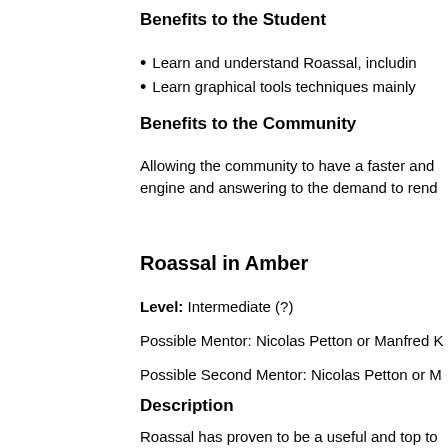Benefits to the Student
Learn and understand Roassal, includin
Learn graphical tools techniques mainly
Benefits to the Community
Allowing the community to have a faster and engine and answering to the demand to rend
Roassal in Amber
Level: Intermediate (?)
Possible Mentor: Nicolas Petton or Manfred K
Possible Second Mentor: Nicolas Petton or M
Description
Roassal has proven to be a useful and top to and commercial organizations. Proof of this is